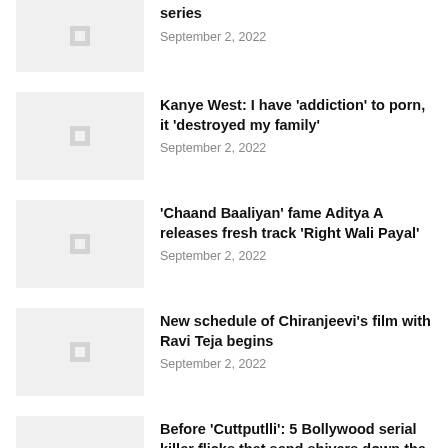series
September 2, 2022
Kanye West: I have 'addiction' to porn, it 'destroyed my family'
September 2, 2022
'Chaand Baaliyan' fame Aditya A releases fresh track 'Right Wali Payal'
September 2, 2022
New schedule of Chiranjeevi's film with Ravi Teja begins
September 2, 2022
Before 'Cuttputlli': 5 Bollywood serial killer flicks that send shivers down the